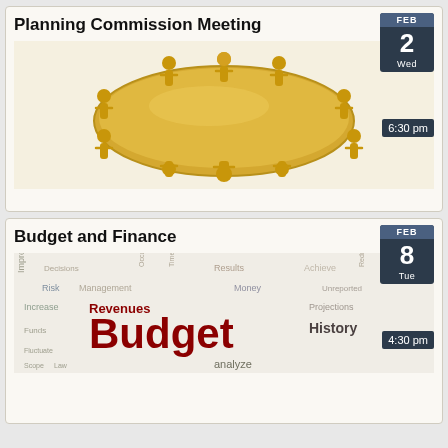Planning Commission Meeting
[Figure (illustration): Gold figurines of people sitting around an oval conference table, 3D rendering]
FEB 2 Wed
6:30 pm
Budget and Finance
[Figure (illustration): Word cloud featuring Budget, History, Revenues, Money, Projections, Decisions and other finance-related terms]
FEB 8 Tue
4:30 pm